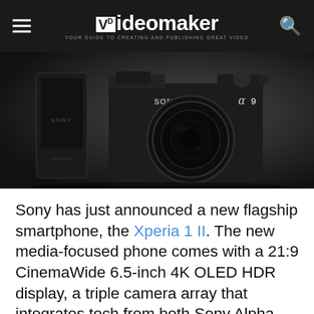Videomaker — YOUR GUIDE TO CREATING AND PUBLISHING GREAT VIDEO
[Figure (photo): Dark studio photo showing a Sony Alpha 9 mirrorless camera in the foreground and a Sony Xperia smartphone standing behind it to the left, both against a dark grey gradient background.]
Sony has just announced a new flagship smartphone, the Xperia 1 II. The new media-focused phone comes with a 21:9 CinemaWide 6.5-inch 4K OLED HDR display, a triple camera array that integrates tech from both Sony Alpha and Zeiss optics and front-facing stereo speakers paired with